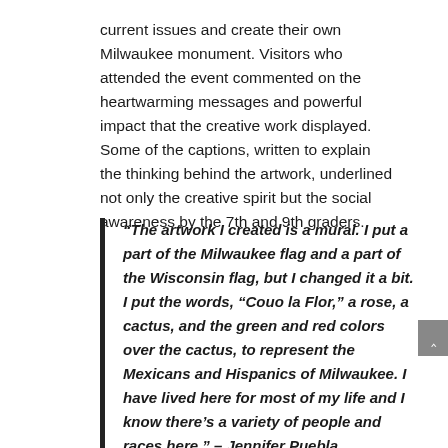current issues and create their own Milwaukee monument. Visitors who attended the event commented on the heartwarming messages and powerful impact that the creative work displayed. Some of the captions, written to explain the thinking behind the artwork, underlined not only the creative spirit but the social awareness by the 7th and 9th graders.
“The artwork I created is a mural. I put a part of the Milwaukee flag and a part of the Wisconsin flag, but I changed it a bit. I put the words, “Couo la Flor,” a rose, a cactus, and the green and red colors over the cactus, to represent the Mexicans and Hispanics of Milwaukee. I have lived here for most of my life and I know there’s a variety of people and races here.” – Jennifer Puebla